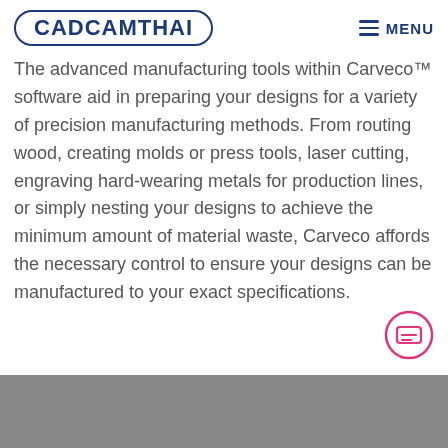CADCAMTHAI  MENU
The advanced manufacturing tools within Carveco™ software aid in preparing your designs for a variety of precision manufacturing methods. From routing wood, creating molds or press tools, laser cutting, engraving hard-wearing metals for production lines, or simply nesting your designs to achieve the minimum amount of material waste, Carveco affords the necessary control to ensure your designs can be manufactured to your exact specifications.
[Figure (illustration): Gray rectangular area at the bottom of the page, partially visible, representing a screenshot or image content area.]